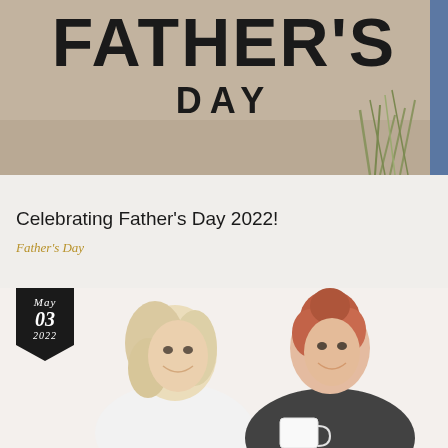[Figure (photo): Father's Day banner image with large bold text 'FATHER'S DAY' over a sandy/gravel background with blue strip on right and grass/plants visible]
Celebrating Father’s Day 2022!
Father’s Day
[Figure (photo): Photo of two smiling women, one with blonde hair in white top, one with red hair in black top holding white mugs, with a date badge overlay showing May 03 2022]